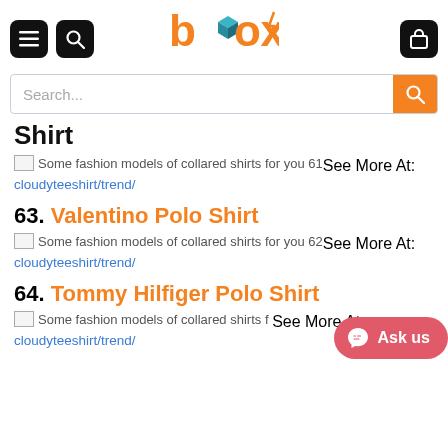[Figure (screenshot): Website header with menu icon, search icon, Box logo (orange and teal), and cart icon]
[Figure (screenshot): Search bar with placeholder text 'Search...' and orange search button]
Shirt
Some fashion models of collared shirts for you 61See More At: cloudyteeshirt/trend/
63. Valentino Polo Shirt
Some fashion models of collared shirts for you 62See More At: cloudyteeshirt/trend/
64. Tommy Hilfiger Polo Shirt
Some fashion models of collared shirts fSee More At: cloudyteeshirt/trend/